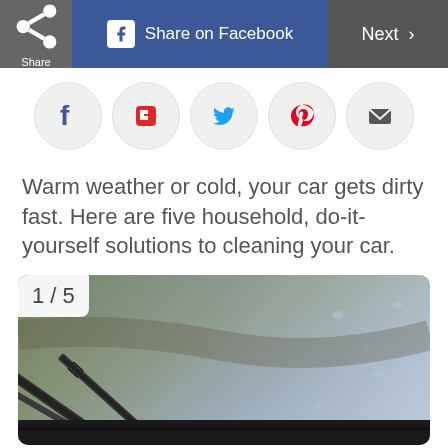Share | Share on Facebook | Next >
[Figure (illustration): Social sharing icons row: Facebook (f), Flipboard (red F), Twitter (blue bird), Pinterest (red P), Email (envelope)]
Warm weather or cold, your car gets dirty fast. Here are five household, do-it-yourself solutions to cleaning your car.
[Figure (photo): Photo of car windshield wiper blades resting on a wet, dirty windshield with road grime and water droplets. Labeled 1/5.]